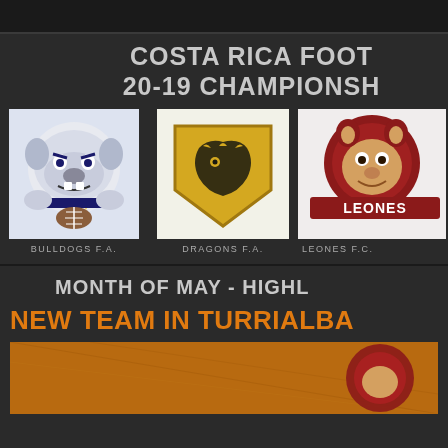COSTA RICA FOOT
20-19 CHAMPIONSHIP
[Figure (logo): Bulldogs F.A. team logo — angry bulldog mascot in navy blue and white]
BULLDOGS F.A.
[Figure (logo): Dragons F.A. team logo — golden dragon on shield]
DRAGONS F.A.
[Figure (logo): Leones F.C. team logo — red lion mascot with LEONES text]
LEONES F.C.
MONTH OF MAY - HIGHL
NEW TEAM IN TURRIALBA
[Figure (photo): Bottom image showing an orange/brown background with a partial sports logo or team graphic]